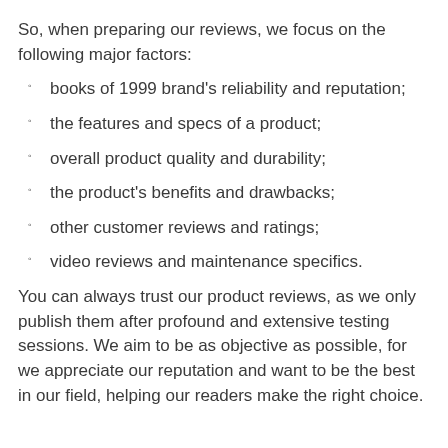So, when preparing our reviews, we focus on the following major factors:
books of 1999 brand's reliability and reputation;
the features and specs of a product;
overall product quality and durability;
the product's benefits and drawbacks;
other customer reviews and ratings;
video reviews and maintenance specifics.
You can always trust our product reviews, as we only publish them after profound and extensive testing sessions. We aim to be as objective as possible, for we appreciate our reputation and want to be the best in our field, helping our readers make the right choice.